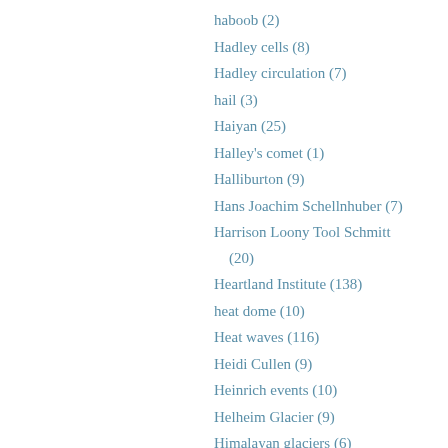haboob (2)
Hadley cells (8)
Hadley circulation (7)
hail (3)
Haiyan (25)
Halley's comet (1)
Halliburton (9)
Hans Joachim Schellnhuber (7)
Harrison Loony Tool Schmitt (20)
Heartland Institute (138)
heat dome (10)
Heat waves (116)
Heidi Cullen (9)
Heinrich events (10)
Helheim Glacier (9)
Himalayan glaciers (6)
Hindu Kush (1)
hockey stick (62)
Holocene thermal maximum